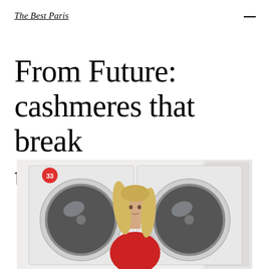The Best Paris
From Future: cashmeres that break the codes
[Figure (photo): Woman with long blonde hair wearing a red sweater, standing in front of industrial washing machines in a laundromat. A red circular badge with the number 33 is visible on one of the machines.]